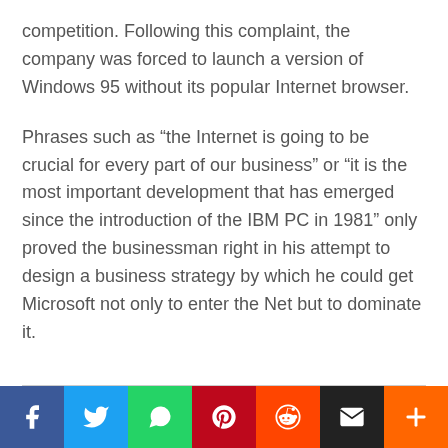competition. Following this complaint, the company was forced to launch a version of Windows 95 without its popular Internet browser.
Phrases such as “the Internet is going to be crucial for every part of our business” or “it is the most important development that has emerged since the introduction of the IBM PC in 1981” only proved the businessman right in his attempt to design a business strategy by which he could get Microsoft not only to enter the Net but to dominate it.
[Figure (other): Social media sharing bar with icons for Facebook, Twitter, WhatsApp, Pinterest, Reddit, Email, and a plus button]